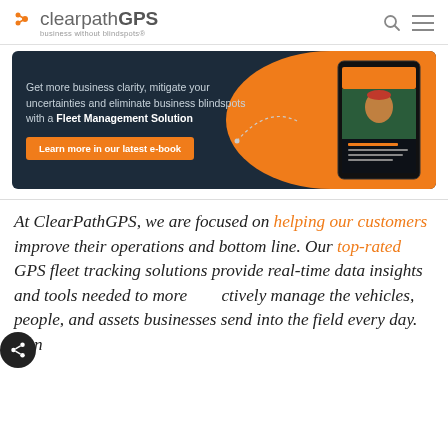clearpathGPS — business without blindspots
[Figure (screenshot): ClearPathGPS website banner ad with dark navy background and orange blob. Text reads: 'Get more business clarity, mitigate your uncertainties and eliminate business blindspots with a Fleet Management Solution'. Orange button: 'Learn more in our latest e-book'. Right side shows a tablet with an e-book cover and a person in a field.]
At ClearPathGPS, we are focused on helping our customers improve their operations and bottom line. Our top-rated GPS fleet tracking solutions provide real-time data insights and tools needed to more actively manage the vehicles, people, and assets businesses send into the field every day. Can